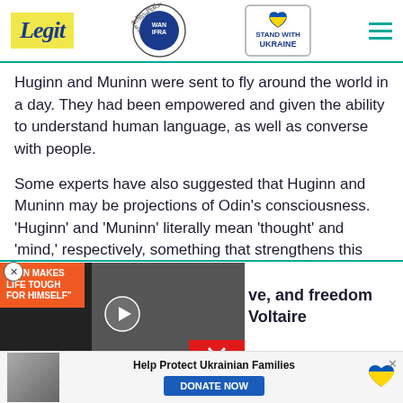Legit | WAN-IFRA 2021 Best News Website in Africa | Stand With Ukraine
Huginn and Muninn were sent to fly around the world in a day. They had been empowered and given the ability to understand human language, as well as converse with people.
Some experts have also suggested that Huginn and Muninn may be projections of Odin's consciousness. 'Huginn' and 'Muninn' literally mean 'thought' and 'mind,' respectively, something that strengthens this theory.
[Figure (screenshot): Video player overlay showing two people with text 'BEN MAKES LIFE TOUGH FOR HIMSELF' and a red play button, with a red close/minimize button]
ve, and freedom Voltaire
[Figure (infographic): Donation banner: Help Protect Ukrainian Families with DONATE NOW button and Ukrainian flag heart icon]